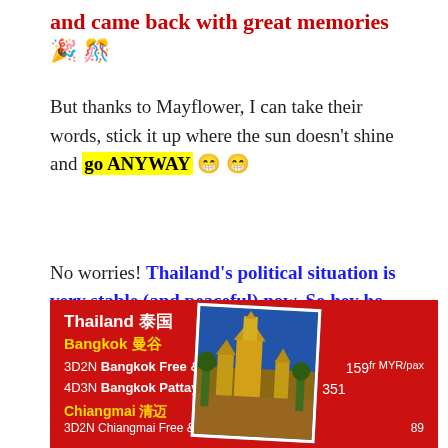and came back with great memories 🎉🎊
But thanks to Mayflower, I can take their words, stick it up where the sun doesn't shine and go ANYWAY 😁 😁
No worries! Thailand's political situation is very stable (and peaceful) now. So hey ho, let's go!
[Figure (infographic): Red promotional box for Mayflower Thailand tours. Shows 'Thailand 泰国' as title, Bangkok 曼谷 and Chiangmai 清迈 sections with tour names and prices in MYR/pax. A tilted photo of a Thai temple (golden stupa/pagoda) is shown. Prices: 3D2N Bangkok Free & Easy fr 159, 4D3N Bangkok Pattaya Tour fr 351, 3D2N Chiangmai Free & Easy fr 89 (partially visible).]